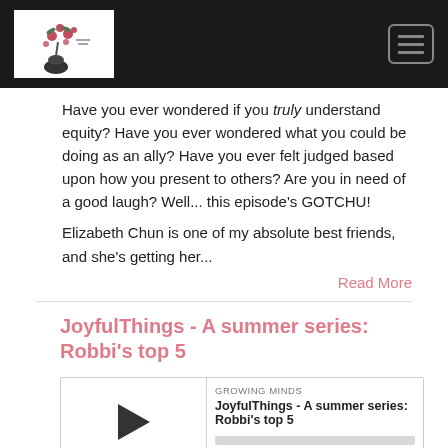Growing Minds podcast site header with logo and hamburger menu
Have you ever wondered if you truly understand equity? Have you ever wondered what you could be doing as an ally? Have you ever felt judged based upon how you present to others? Are you in need of a good laugh? Well... this episode's GOTCHU!

Elizabeth Chun is one of my absolute best friends, and she's getting her...
Read More
JoyfulThings - A summer series: Robbi's top 5
[Figure (other): Podcast audio player widget showing GROWING MINDS label, episode title JoyfulThings - A summer series: Robbi's top 5, play button, progress bar, time 00:00:00, and media control icons (RSS, download, embed, bell)]